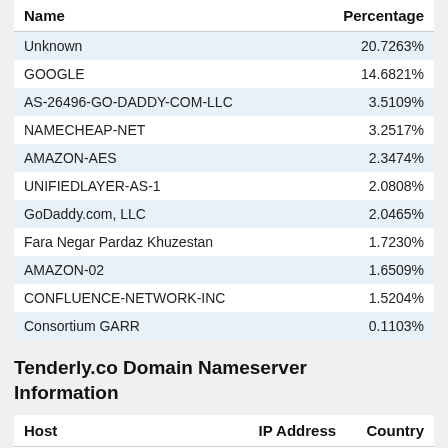| Name | Percentage |
| --- | --- |
| Unknown | 20.7263% |
| GOOGLE | 14.6821% |
| AS-26496-GO-DADDY-COM-LLC | 3.5109% |
| NAMECHEAP-NET | 3.2517% |
| AMAZON-AES | 2.3474% |
| UNIFIEDLAYER-AS-1 | 2.0808% |
| GoDaddy.com, LLC | 2.0465% |
| Fara Negar Pardaz Khuzestan | 1.7230% |
| AMAZON-02 | 1.6509% |
| CONFLUENCE-NETWORK-INC | 1.5204% |
| Consortium GARR | 0.1103% |
Tenderly.co Domain Nameserver Information
| Host | IP Address | Country |
| --- | --- | --- |
| ns.cloud.b2.googledomain | 216.239.34.10 |  |